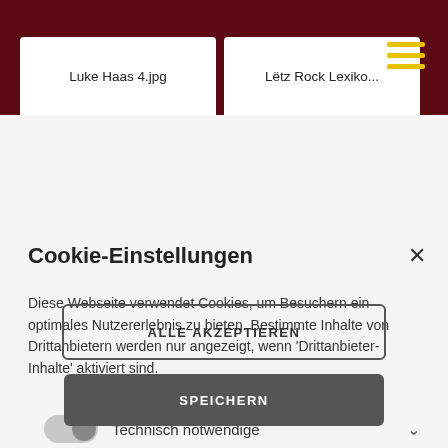[Figure (screenshot): Browser tabs showing 'Luke Haas 4.jpg' and 'Lëtz Rock Lexiko...' on a dark red background with hamburger menu icon]
Cookie-Einstellungen
Diese Webseite verwendet Cookies, um Besuchern ein optimales Nutzererlebnis zu bieten. Bestimmte Inhalte von Drittanbietern werden nur angezeigt, wenn 'Drittanbieter-Inhalte' aktiviert sind.
Technisch notwendige
Analytische
Drittanbieter-Inhalte
ALLE AKZEPTIEREN
SPEICHERN